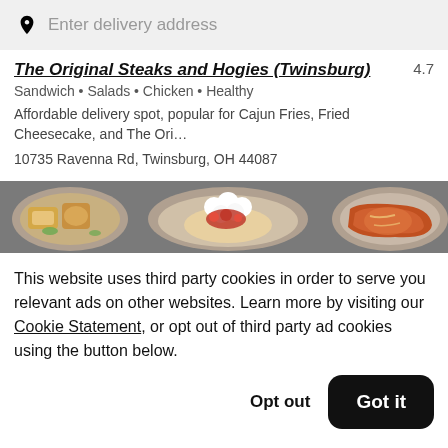Enter delivery address
The Original Steaks and Hogies (Twinsburg)
Sandwich • Salads • Chicken • Healthy
Affordable delivery spot, popular for Cajun Fries, Fried Cheesecake, and The Ori…
10735 Ravenna Rd, Twinsburg, OH 44087
[Figure (photo): Food items including bread, pastry with cream and berries, and a steak dish on plates]
This website uses third party cookies in order to serve you relevant ads on other websites. Learn more by visiting our Cookie Statement, or opt out of third party ad cookies using the button below.
Opt out
Got it